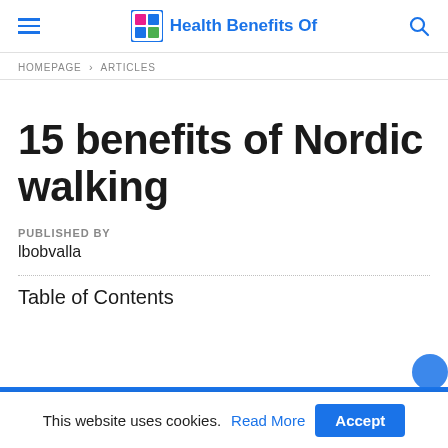Health Benefits Of
HOMEPAGE > ARTICLES
15 benefits of Nordic walking
PUBLISHED BY
lbobvalla
Table of Contents
This website uses cookies. Read More Accept